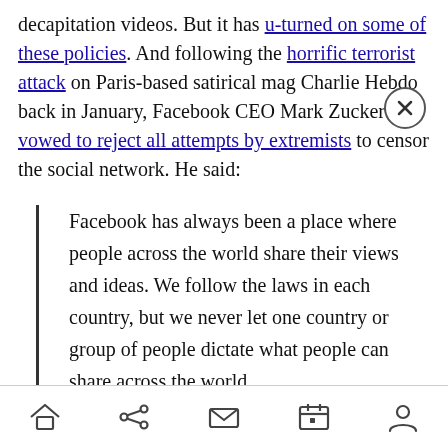decapitation videos. But it has u-turned on some of these policies. And following the horrific terrorist attack on Paris-based satirical mag Charlie Hebdo back in January, Facebook CEO Mark Zuckerberg vowed to reject all attempts by extremists to censor the social network. He said:
Facebook has always been a place where people across the world share their views and ideas. We follow the laws in each country, but we never let one country or group of people dictate what people can share across the world.

Yet as I reflect on yesterday's attack
Home | Share | Mail | Calendar | Profile